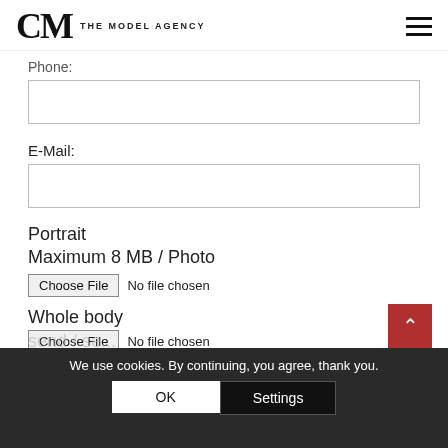CM THE MODEL AGENCY
Phone:
E-Mail:
Portrait
Maximum 8 MB / Photo
Choose File  No file chosen
Whole body
Choose File  No file chosen
We use cookies. By continuing, you agree, thank you.
OK
Settings